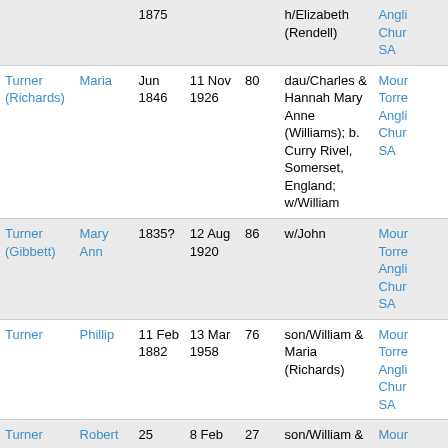| Surname | First Name | Born | Died | Age | Notes | Cemetery |
| --- | --- | --- | --- | --- | --- | --- |
|  |  | 1875 |  |  | h/Elizabeth (Rendell) | Angli Chur SA |
| Turner (Richards) | Maria | Jun 1846 | 11 Nov 1926 | 80 | dau/Charles & Hannah Mary Anne (Williams); b. Curry Rivel, Somerset, England; w/William | Mour Torre Angli Chur SA |
| Turner (Gibbett) | Mary Ann | 1835? | 12 Aug 1920 | 86 | w/John | Mour Torre Angli Chur SA |
| Turner | Phillip | 11 Feb 1882 | 13 Mar 1958 | 76 | son/William & Maria (Richards) | Mour Torre Angli Chur SA |
| Turner | Robert James | 25 May 1889 | 8 Feb 1917 | 27 | son/William & Maria (Richards); | Mour Torre Angli |